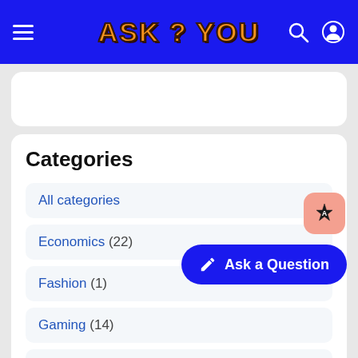ASK ? YOU
Categories
All categories
Economics (22)
Fashion (1)
Gaming (14)
Health (11)
Hi-Tech (10)